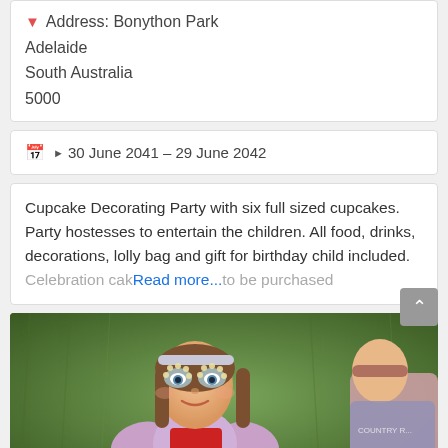Address: Bonython Park
Adelaide
South Australia
5000
30 June 2041 – 29 June 2042
Cupcake Decorating Party with six full sized cupcakes. Party hostesses to entertain the children. All food, drinks, decorations, lolly bag and gift for birthday child included. Celebration cak Read more... to be purchased
[Figure (photo): A young girl with face paint (floral design around eyes) wearing a sparkly jacket and red apron, sitting on grass outdoors, with another child partially visible to the right.]